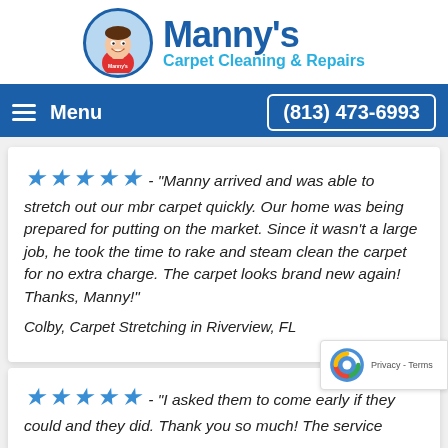[Figure (logo): Manny's Carpet Cleaning & Repairs logo with cartoon mascot character in a circle and blue text]
Menu | (813) 473-6993
★★★★★ - "Manny arrived and was able to stretch out our mbr carpet quickly. Our home was being prepared for putting on the market. Since it wasn't a large job, he took the time to rake and steam clean the carpet for no extra charge. The carpet looks brand new again! Thanks, Manny!"
Colby, Carpet Stretching in Riverview, FL
★★★★★ - "I asked them to come early if they could and they did. Thank you so much! The service